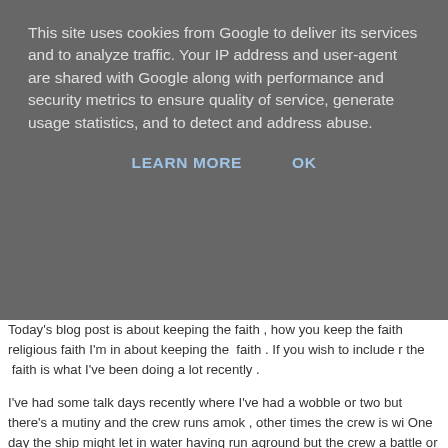This site uses cookies from Google to deliver its services and to analyze traffic. Your IP address and user-agent are shared with Google along with performance and security metrics to ensure quality of service, generate usage statistics, and to detect and address abuse.
LEARN MORE   OK
Today's blog post is about keeping the faith , how you keep the faith religious faith I'm in about keeping the  faith . If you wish to include r the  faith is what I've been doing a lot recently .
I've had some talk days recently where I've had a wobble or two but there's a mutiny and the crew runs amok , other times the crew is wi One day the ship might let in water having run aground but the crew a battle or two resulting in you losing a leg ...
And so I keep the faith , I keep saying how I feel though sometimes put on their bossy boots. I couldn't get by without my friends and I'm everything and nothing at the same time , life you see is very much l it all in one go.
For the past 2 months I have felt like myself then I haven't it's been o Wonderland I seek to do 6 impossible things before breakfast one of